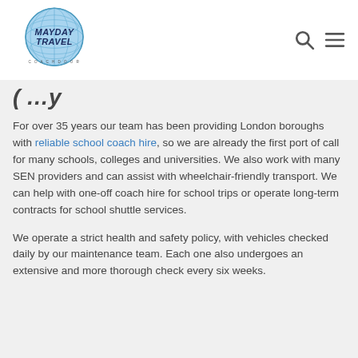Mayday Travel logo with search and menu icons
(partially visible title)
For over 35 years our team has been providing London boroughs with reliable school coach hire, so we are already the first port of call for many schools, colleges and universities. We also work with many SEN providers and can assist with wheelchair-friendly transport. We can help with one-off coach hire for school trips or operate long-term contracts for school shuttle services.
We operate a strict health and safety policy, with vehicles checked daily by our maintenance team. Each one also undergoes an extensive and more thorough check every six weeks.